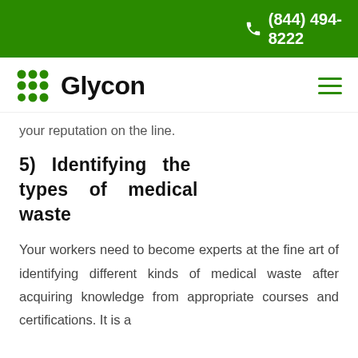(844) 494-8222
[Figure (logo): Glycon logo with green dot grid and bold black text]
your reputation on the line.
5) Identifying the types of medical waste
Your workers need to become experts at the fine art of identifying different kinds of medical waste after acquiring knowledge from appropriate courses and certifications. It is a